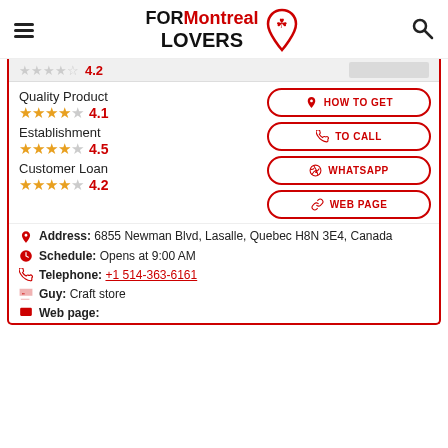FORMontreal LOVERS
4.2
Quality Product 4.1
Establishment 4.5
Customer Loan 4.2
HOW TO GET
TO CALL
WHATSAPP
WEB PAGE
Address: 6855 Newman Blvd, Lasalle, Quebec H8N 3E4, Canada
Schedule: Opens at 9:00 AM
Telephone: +1 514-363-6161
Guy: Craft store
Web page: